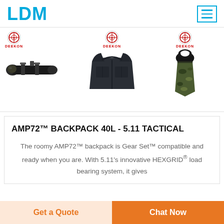LDM
[Figure (screenshot): Three product thumbnails with Deekon brand logos: a rifle scope, a tactical vest, and a camouflage tie]
AMP72™ BACKPACK 40L - 5.11 TACTICAL
The roomy AMP72™ backpack is Gear Set™ compatible and ready when you are. With 5.11's innovative HEXGRID® load bearing system, it gives